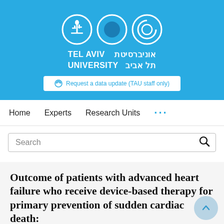[Figure (logo): Tel Aviv University logo banner with three white circular icons (plant/menorah, solid circle, spiral) and bilingual text 'TEL AVIV UNIVERSITY' in English and Hebrew on a light blue background]
Request a data update (TAU staff only)
Home   Experts   Research Units   ...
Search
Outcome of patients with advanced heart failure who receive device-based therapy for primary prevention of sudden cardiac death: